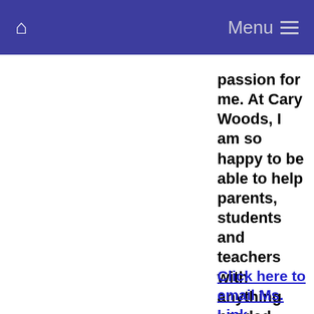Menu
passion for me. At Cary Woods, I am so happy to be able to help parents, students and teachers with anything needed.
Click here to email Ms. Link